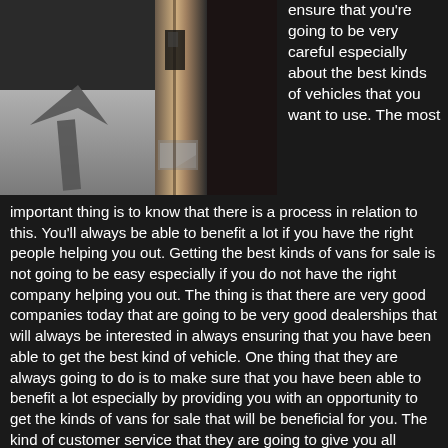[Figure (photo): Black and white photograph showing the shadow of an upward-pointing arrow on a concrete surface, alongside a wooden post or pole with some torn paper or sticker on it.]
ensure that you're going to be very careful especially about the best kinds of vehicles that you want to use. The most important thing is to know that there is a process in relation to this. You'll always be able to benefit a lot if you have the right people helping you out. Getting the best kinds of vans for sale is not going to be easy especially if you do not have the right company helping you out. The thing is that there are very good companies today that are going to be very good dealerships that will always be interested in always ensuring that you have been able to get the best kind of vehicle. One thing that they are always going to do is to make sure that you have been able to benefit a lot especially by providing you with an opportunity to get the kinds of vans for sale that will be beneficial for you. The kind of customer service that they are going to give you all